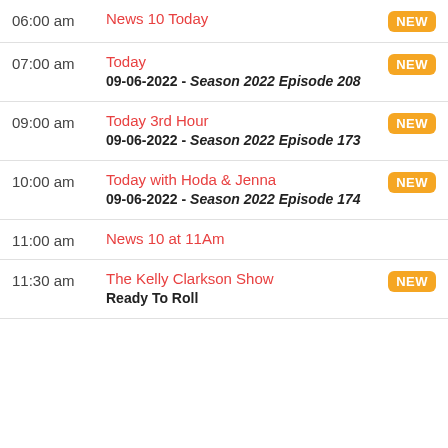06:00 am — News 10 Today [NEW]
07:00 am — Today [NEW] — 09-06-2022 - Season 2022 Episode 208
09:00 am — Today 3rd Hour [NEW] — 09-06-2022 - Season 2022 Episode 173
10:00 am — Today with Hoda & Jenna [NEW] — 09-06-2022 - Season 2022 Episode 174
11:00 am — News 10 at 11Am
11:30 am — The Kelly Clarkson Show [NEW] — Ready To Roll